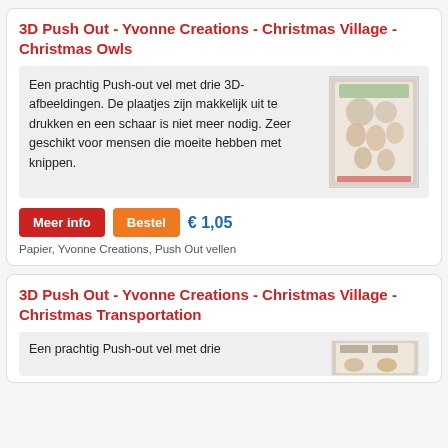3D Push Out - Yvonne Creations - Christmas Village - Christmas Owls
Een prachtig Push-out vel met drie 3D-afbeeldingen. De plaatjes zijn makkelijk uit te drukken en een schaar is niet meer nodig. Zeer geschikt voor mensen die moeite hebben met knippen.
[Figure (photo): Product image of Christmas Owls 3D Push Out sheet]
Meer info   Bestel   € 1,05
Papier, Yvonne Creations, Push Out vellen
3D Push Out - Yvonne Creations - Christmas Village - Christmas Transportation
Een prachtig Push-out vel met drie